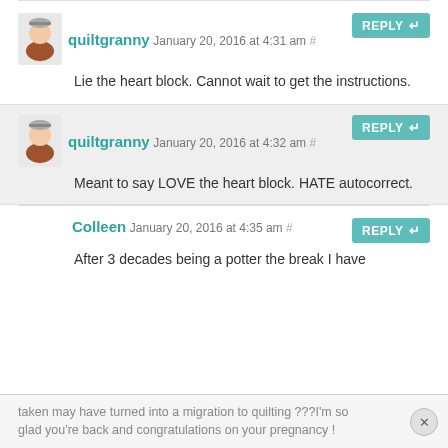quiltgranny January 20, 2016 at 4:31 am # — Lie the heart block. Cannot wait to get the instructions.
quiltgranny January 20, 2016 at 4:32 am # — Meant to say LOVE the heart block. HATE autocorrect.
Colleen January 20, 2016 at 4:35 am # — After 3 decades being a potter the break I have taken may have turned into a migration to quilting ???I'm so glad you're back and congratulations on your pregnancy !